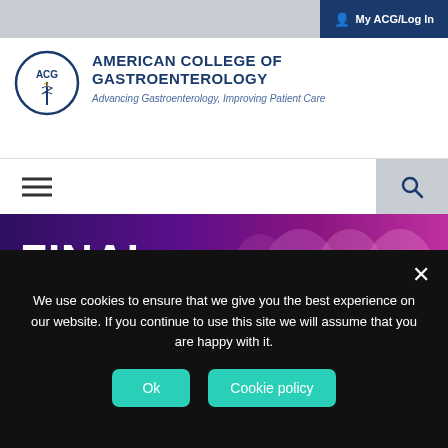My ACG/Log In
[Figure (logo): ACG circular logo with rod of Asclepius]
AMERICAN COLLEGE OF GASTROENTEROLOGY
Advancing Gastroenterology, Improving Patient Care
[Figure (illustration): Final Program banner image with people in audience, purple/magenta tones. Text reads FINAL PROGRAM. ACG 2016 OCTOBER 14-19, 2016 The Venetian, Las Vegas, Nevada]
ACG 2016
We use cookies to ensure that we give you the best experience on our website. If you continue to use this site we will assume that you are happy with it.
Ok
Cookie policy